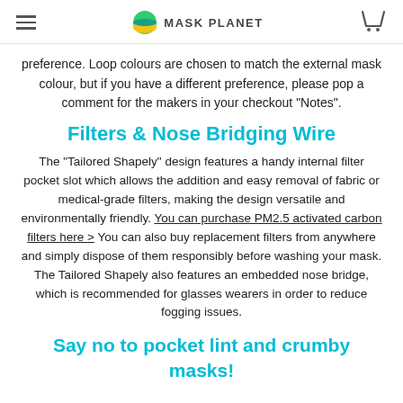MASK PLANET
preference. Loop colours are chosen to match the external mask colour, but if you have a different preference, please pop a comment for the makers in your checkout “Notes”.
Filters & Nose Bridging Wire
The "Tailored Shapely" design features a handy internal filter pocket slot which allows the addition and easy removal of fabric or medical-grade filters, making the design versatile and environmentally friendly. You can purchase PM2.5 activated carbon filters here > You can also buy replacement filters from anywhere and simply dispose of them responsibly before washing your mask. The Tailored Shapely also features an embedded nose bridge, which is recommended for glasses wearers in order to reduce fogging issues.
Say no to pocket lint and crumby masks!